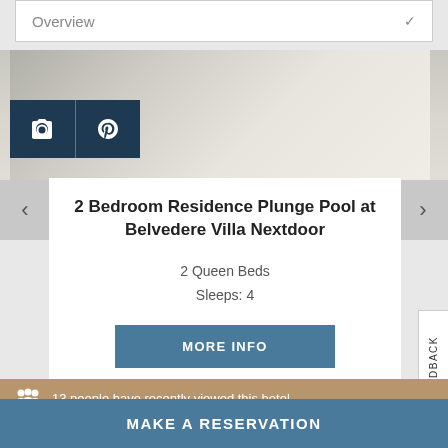Overview
[Figure (photo): Interior room photo showing a bathroom/living area with white surfaces, decorative bottles, and wooden accents]
2 Bedroom Residence Plunge Pool at Belvedere Villa Nextdoor
2 Queen Beds
Sleeps: 4
MORE INFO
13 people have recently viewed this hotel
MAKE A RESERVATION